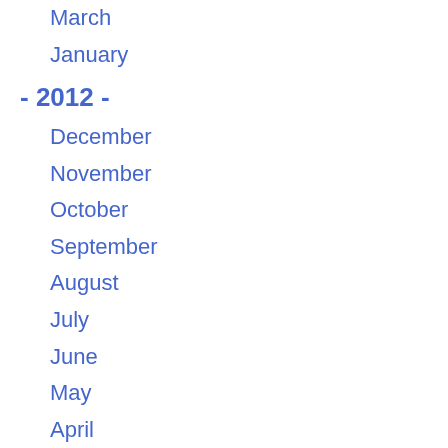March
January
- 2012 -
December
November
October
September
August
July
June
May
April
March
February
January
- 2011 -
December
November